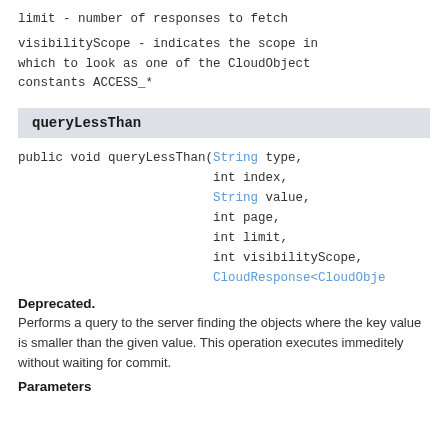limit - number of responses to fetch
visibilityScope - indicates the scope in which to look as one of the CloudObject constants ACCESS_*
queryLessThan
public void queryLessThan(String type,
                          int index,
                          String value,
                          int page,
                          int limit,
                          int visibilityScope,
                          CloudResponse<CloudObje
Deprecated.
Performs a query to the server finding the objects where the key value is smaller than the given value. This operation executes immeditely without waiting for commit.
Parameters